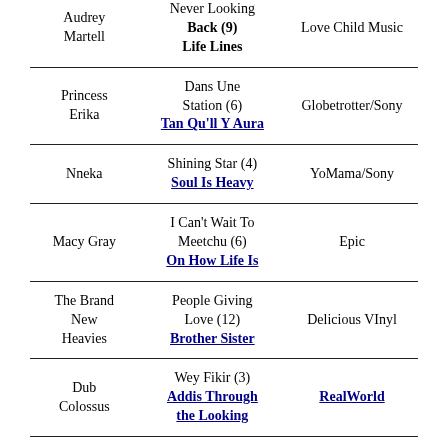| Artist | Song / Album | Label |
| --- | --- | --- |
| Audrey Martell | Never Looking Back (9)
Life Lines | Love Child Music |
| Princess Erika | Dans Une Station (6)
Tan Qu'll Y Aura | Globetrotter/Sony |
| Nneka | Shining Star (4)
Soul Is Heavy | YoMama/Sony |
| Macy Gray | I Can't Wait To Meetchu (6)
On How Life Is | Epic |
| The Brand New Heavies | People Giving Love (12)
Brother Sister | Delicious VInyl |
| Dub Colossus | Wey Fikir (3)
Addis Through the Looking | RealWorld |